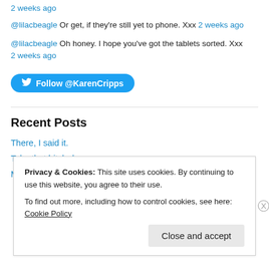2 weeks ago
@lilacbeagle Or get, if they're still yet to phone. Xxx 2 weeks ago
@lilacbeagle Oh honey. I hope you've got the tablets sorted. Xxx
2 weeks ago
[Figure (other): Follow @KarenCripps Twitter button (blue rounded rectangle with bird icon)]
Recent Posts
There, I said it.
Take that bitch down…
Missing in Rest.
Privacy & Cookies: This site uses cookies. By continuing to use this website, you agree to their use.
To find out more, including how to control cookies, see here: Cookie Policy